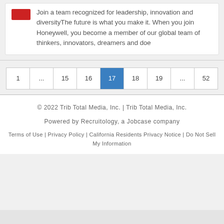Join a team recognized for leadership, innovation and diversityThe future is what you make it. When you join Honeywell, you become a member of our global team of thinkers, innovators, dreamers and doe
1
...
15
16
17
18
19
...
52
© 2022 Trib Total Media, Inc. | Trib Total Media, Inc.
Powered by Recruitology, a Jobcase company
Terms of Use | Privacy Policy | California Residents Privacy Notice | Do Not Sell My Information